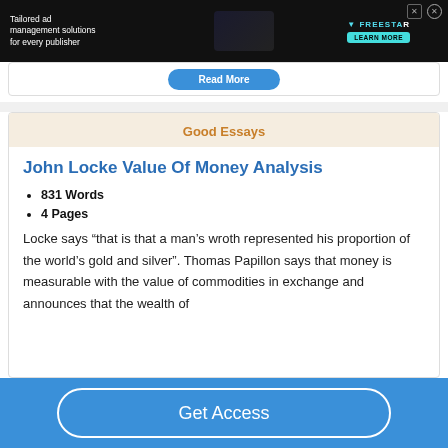[Figure (screenshot): Advertisement banner: dark background with text 'Tailored ad management solutions for every publisher', Freestar logo with 'LEARN MORE' button, and close buttons]
Read More
Good Essays
John Locke Value Of Money Analysis
831 Words
4 Pages
Locke says “that is that a man’s wroth represented his proportion of the world’s gold and silver”. Thomas Papillon says that money is measurable with the value of commodities in exchange and announces that the wealth of
Get Access